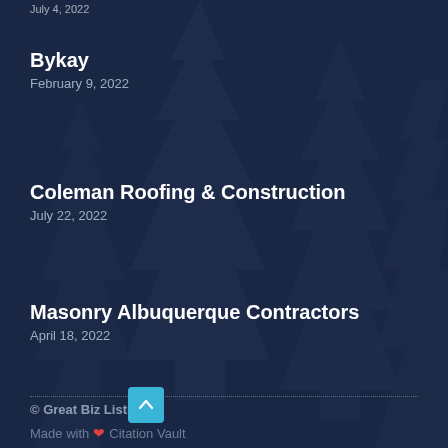July 4, 2022
Bykay
February 9, 2022
Coleman Roofing & Construction
July 22, 2022
Masonry Albuquerque Contractors
April 18, 2022
© Great Biz Listings
Made with ❤ Citation Vault